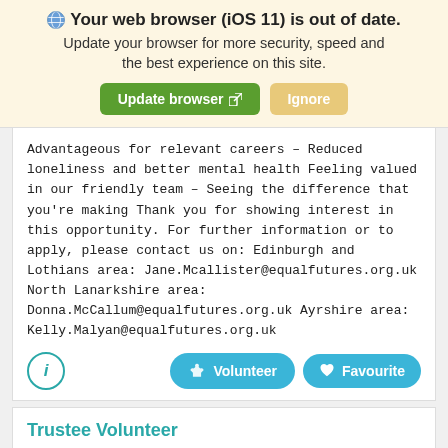[Figure (screenshot): Browser out-of-date warning banner with globe icon, bold title 'Your web browser (iOS 11) is out of date.', subtitle text, and two buttons: green 'Update browser' and tan 'Ignore']
Advantageous for relevant careers – Reduced loneliness and better mental health Feeling valued in our friendly team – Seeing the difference that you're making Thank you for showing interest in this opportunity. For further information or to apply, please contact us on: Edinburgh and Lothians area: Jane.Mcallister@equalfutures.org.uk North Lanarkshire area: Donna.McCallum@equalfutures.org.uk Ayrshire area: Kelly.Malyan@equalfutures.org.uk
[Figure (infographic): Action buttons row: teal circle info icon on left, teal rounded 'Volunteer' button with hand icon, teal rounded 'Favourite' button with heart icon]
Trustee Volunteer
Equal Futures